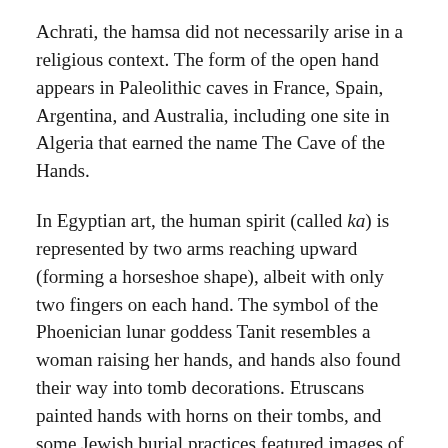Achrati, the hamsa did not necessarily arise in a religious context. The form of the open hand appears in Paleolithic caves in France, Spain, Argentina, and Australia, including one site in Algeria that earned the name The Cave of the Hands.
In Egyptian art, the human spirit (called ka) is represented by two arms reaching upward (forming a horseshoe shape), albeit with only two fingers on each hand. The symbol of the Phoenician lunar goddess Tanit resembles a woman raising her hands, and hands also found their way into tomb decorations. Etruscans painted hands with horns on their tombs, and some Jewish burial practices featured images of hands (suggesting the priestly blessing) on stone markers of Levite graves. All of these could be considered very early